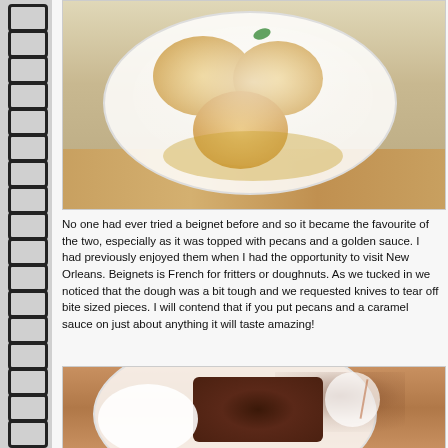[Figure (photo): Close-up photo of beignets (fried dough pastries) dusted with powdered sugar on a white plate, on a wooden table background]
No one had ever tried a beignnet before and so it became the favourite of the two, especially as it was topped with pecans and a golden sauce. I had previously enjoyed them when I had the opportunity to visit New Orleans. Beignets is French for fritters or doughnuts. As we tucked in we noticed that the dough was a bit tough and we requested knives to tear off bite sized pieces. I will contend that if you put pecans and a caramel sauce on just about anything it will taste amazing!
[Figure (photo): Close-up photo of a dark chocolate dessert (brownie or similar) on a white plate with whipped cream, dusted with cocoa powder, on a wooden table]